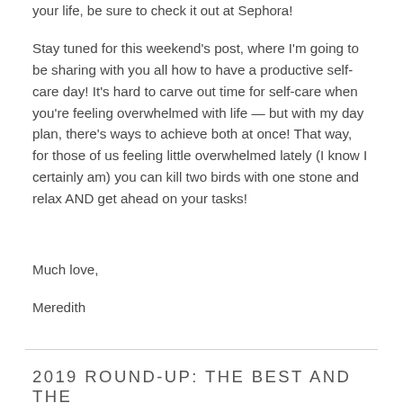your life, be sure to check it out at Sephora!
Stay tuned for this weekend's post, where I'm going to be sharing with you all how to have a productive self-care day! It's hard to carve out time for self-care when you're feeling overwhelmed with life — but with my day plan, there's ways to achieve both at once! That way, for those of us feeling little overwhelmed lately (I know I certainly am) you can kill two birds with one stone and relax AND get ahead on your tasks!
Much love,
Meredith
2019 ROUND-UP: THE BEST AND THE